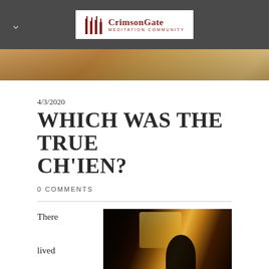Crimson Gate Meditation Community
[Figure (photo): Hero image strip showing warm autumn outdoor tones]
4/3/2020
WHICH WAS THE TRUE CH'IEN?
0 COMMENTS
There lived in Hanya
[Figure (photo): Dark moody photo with warm golden light casting shadows, silhouette of a figure visible]